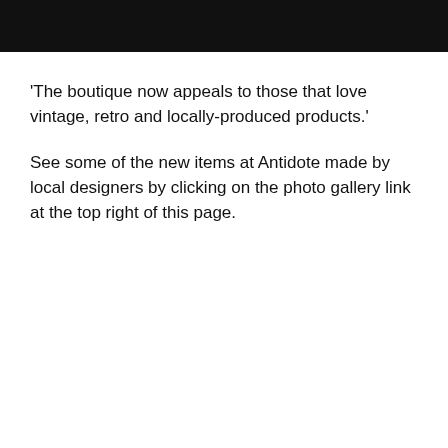[Figure (photo): Black rectangular bar spanning the top of the page]
'The boutique now appeals to those that love vintage, retro and locally-produced products.'
See some of the new items at Antidote made by local designers by clicking on the photo gallery link at the top right of this page.